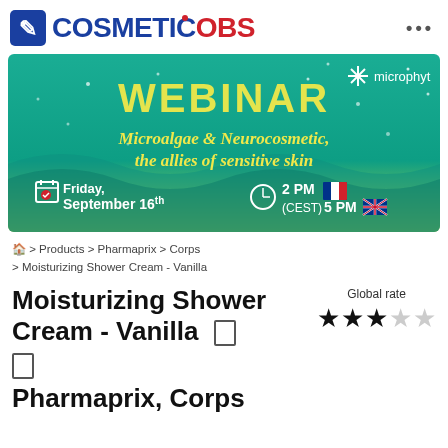COSMETICOBS
[Figure (illustration): Webinar banner for Microphyt: 'WEBINAR - Microalgae & Neurocosmetic, the allies of sensitive skin' on Friday, September 16th at 2 PM (CEST) / 5 PM, with French and UK flags, teal/ocean background.]
Home > Products > Pharmaprix > Corps > Moisturizing Shower Cream - Vanilla
Moisturizing Shower Cream - Vanilla
Global rate ★★★★☆
Pharmaprix, Corps